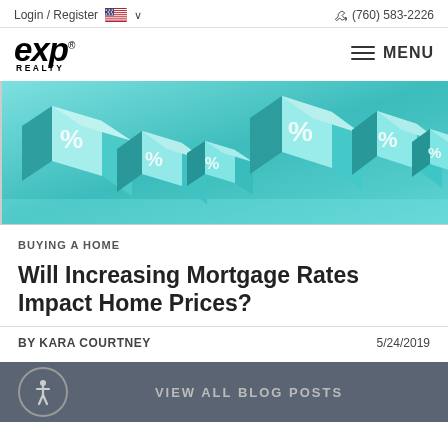Login / Register   (760) 583-2226
[Figure (logo): eXp Realty logo]
[Figure (photo): Teal/cyan 3D cubes with percentage signs on their faces, arranged on a reflective surface]
BUYING A HOME
Will Increasing Mortgage Rates Impact Home Prices?
BY KARA COURTNEY   5/24/2019
VIEW ALL BLOG POSTS